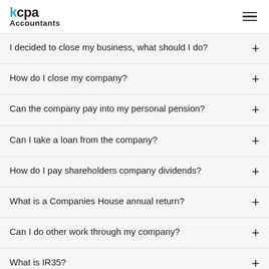kcpa Accountants
I decided to close my business, what should I do?
How do I close my company?
Can the company pay into my personal pension?
Can I take a loan from the company?
How do I pay shareholders company dividends?
What is a Companies House annual return?
Can I do other work through my company?
What is IR35?